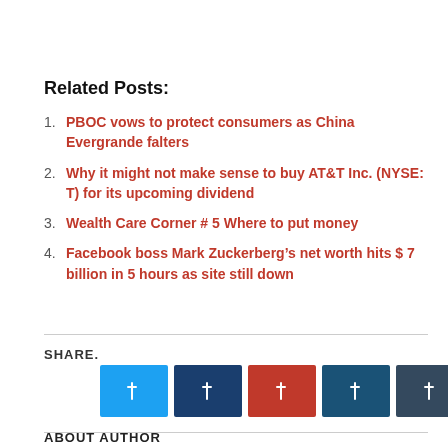Related Posts:
PBOC vows to protect consumers as China Evergrande falters
Why it might not make sense to buy AT&T Inc. (NYSE: T) for its upcoming dividend
Wealth Care Corner # 5 Where to put money
Facebook boss Mark Zuckerberg’s net worth hits $ 7 billion in 5 hours as site still down
SHARE.
ABOUT AUTHOR